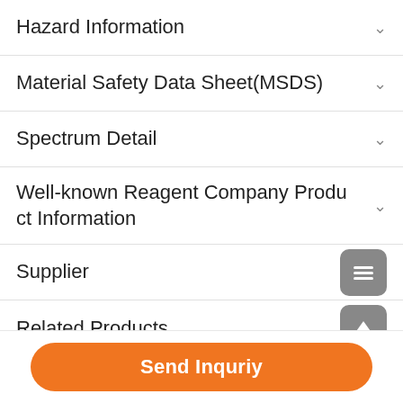Hazard Information
Material Safety Data Sheet(MSDS)
Spectrum Detail
Well-known Reagent Company Product Information
Supplier
Related Products
Send Inquriy